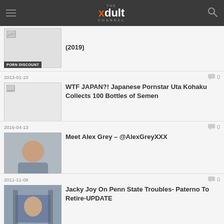THE xdult CHANNEL
(2019)
PORN DISCOUNT
2013-01-10  0
WTF JAPAN?! Japanese Pornstar Uta Kohaku Collects 100 Bottles of Semen
EDITORIALS
2016-04-13  0
Meet Alex Grey – @AlexGreyXXX
INDUSTRY NEWS
2011-11-09  0
Jacky Joy On Penn State Troubles- Paterno To Retire-UPDATE
INDUSTRY NEWS